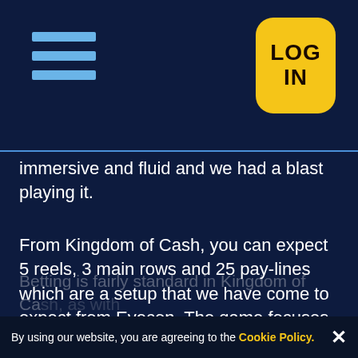[hamburger menu icon] [LOG IN button]
immersive and fluid and we had a blast playing it.
From Kingdom of Cash, you can expect 5 reels, 3 main rows and 25 pay-lines which are a setup that we have come to expect from Eyecon. The game focuses on a royal kingdom and its various inhabitants and you can expect a medieval battle style extravaganza. The sound effects are very nice and make you think of a bard wielding a harp and playing some classic fairy tale style music. We cannot really fault the design overall, even though there are thousands of slot games with similar themes.
By using our website, you are agreeing to the Cookie Policy. ✕
Betting is fairly standard in Kingdom of Cash, as with